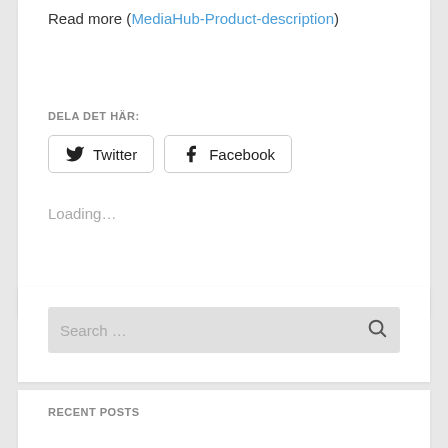Read more (MediaHub-Product-description)
DELA DET HÄR:
Twitter  Facebook
Loading…
Search …
RECENT POSTS